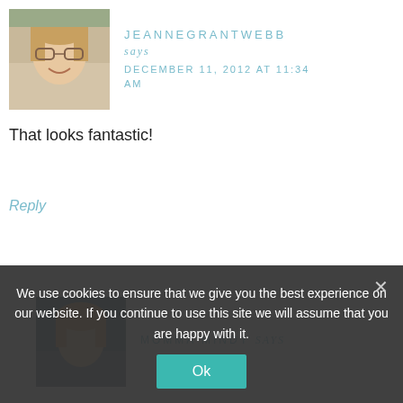[Figure (photo): Profile photo of a woman with blonde hair and glasses, smiling, photographed outdoors]
JEANNEGRANTWEBB says DECEMBER 11, 2012 AT 11:34 AM
That looks fantastic!
Reply
[Figure (photo): Profile photo of a woman with blonde hair against a blurred outdoor background]
MOMMA MINDY says
We use cookies to ensure that we give you the best experience on our website. If you continue to use this site we will assume that you are happy with it.